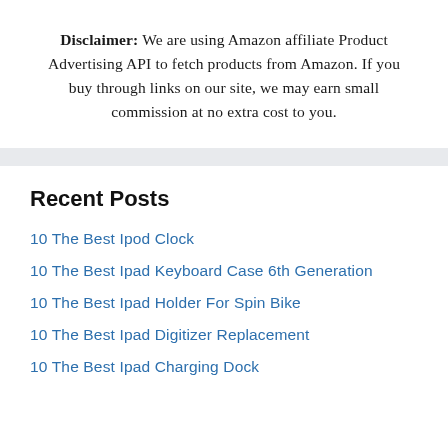Disclaimer: We are using Amazon affiliate Product Advertising API to fetch products from Amazon. If you buy through links on our site, we may earn small commission at no extra cost to you.
Recent Posts
10 The Best Ipod Clock
10 The Best Ipad Keyboard Case 6th Generation
10 The Best Ipad Holder For Spin Bike
10 The Best Ipad Digitizer Replacement
10 The Best Ipad Charging Dock